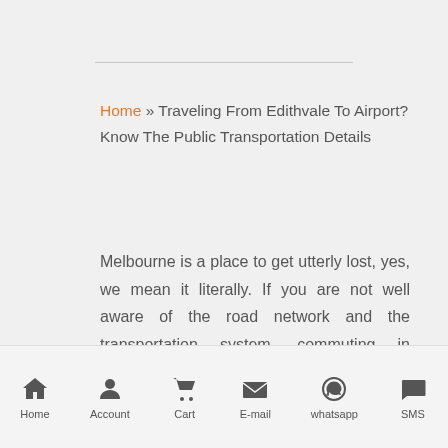Home » Traveling From Edithvale To Airport? Know The Public Transportation Details
Melbourne is a place to get utterly lost, yes, we mean it literally. If you are not well aware of the road network and the transportation system, commuting in Melbourne be a tough task for you. We have no intention to make to worry about your Melbourne visit. But we
Home   Account   Cart   E-mail   whatsapp   SMS